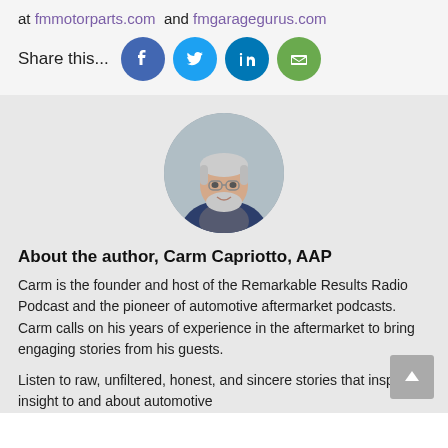at fmmotorparts.com and fmgaragegurus.com
Share this...
[Figure (other): Social share icons: Facebook (blue circle), Twitter (light blue circle), LinkedIn (blue circle), Email (green circle)]
[Figure (photo): Circular headshot photo of Carm Capriotto, an older man with silver hair and beard, wearing glasses and a dark blazer]
About the author, Carm Capriotto, AAP
Carm is the founder and host of the Remarkable Results Radio Podcast and the pioneer of automotive aftermarket podcasts. Carm calls on his years of experience in the aftermarket to bring engaging stories from his guests.
Listen to raw, unfiltered, honest, and sincere stories that inspired insight to and about automotive...